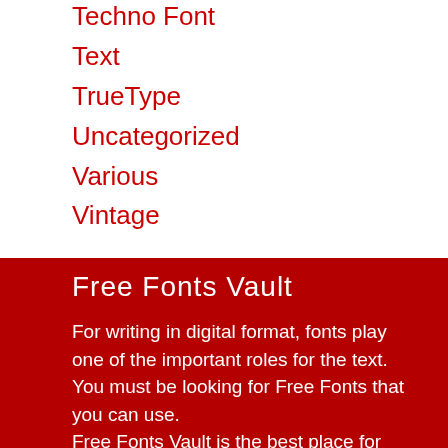Techno Font
Text
TrueType
Uncategorized
Various
Vintage
Free Fonts Vault
For writing in digital format, fonts play one of the important roles for the text. You must be looking for Free Fonts that you can use.
Free Fonts Vault is the best place for you. We are